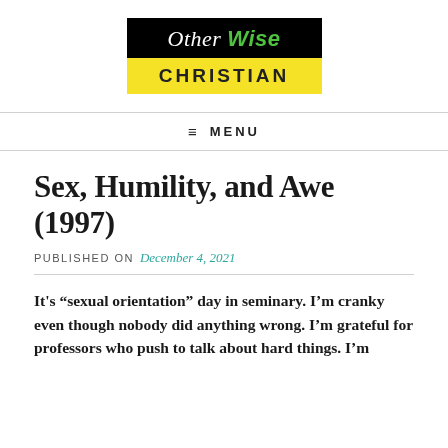[Figure (logo): OtherWise Christian logo: black top half with italic white and green text 'Other Wise', yellow bottom half with bold uppercase 'CHRISTIAN']
≡ MENU
Sex, Humility, and Awe (1997)
PUBLISHED ON December 4, 2021
It’s “sexual orientation” day in seminary. I’m cranky even though nobody did anything wrong. I’m grateful for professors who push to talk about hard things. I’m